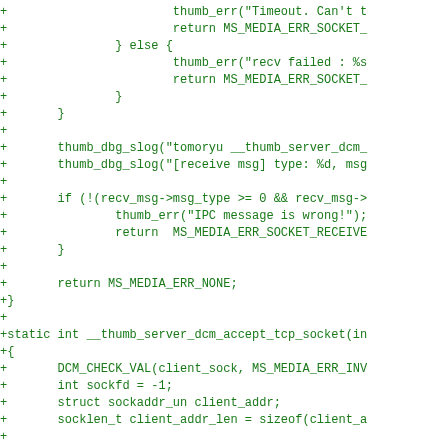[Figure (screenshot): Code diff snippet in green monospace font showing C code additions with + prefix. Lines include thumb_err, return MS_MEDIA_ERR_SOCKET, else block, thumb_dbg_slog calls, if statement with recv_msg checks, return MS_MEDIA_ERR_NONE, closing brace, static int __thumb_server_dcm_accept_tcp_socket function definition and body with DCM_CHECK_VAL, int sockfd, struct sockaddr_un, socklen_t, if accept call, thumb_err, *client_sock, return MS_MEDIA_ERR_SOCKET_ACCEPT.]